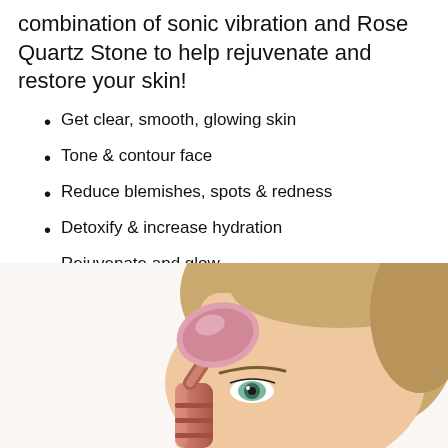combination of sonic vibration and Rose Quartz Stone to help rejuvenate and restore your skin!
Get clear, smooth, glowing skin
Tone & contour face
Reduce blemishes, spots & redness
Detoxify & increase hydration
Rejuvenate and glow
[Figure (photo): A woman using a rose quartz facial roller/vibrating beauty tool on her face. The tool has a pink oval stone head on a rose gold metal handle. The woman has blonde hair and is shown from forehead down.]